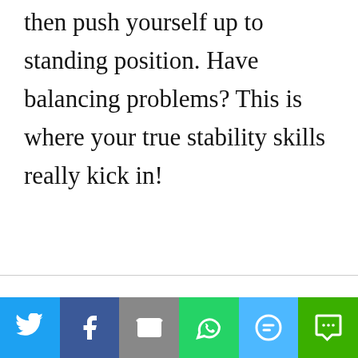then push yourself up to standing position. Have balancing problems? This is where your true stability skills really kick in!
[Figure (other): Social sharing bar with Twitter, Facebook, Email, WhatsApp, SMS, and More buttons]